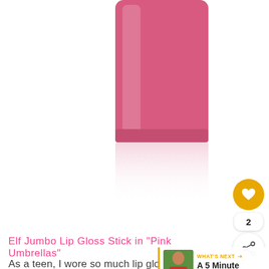[Figure (photo): A pink lip gloss stick product shot with reflection on white background, cropped showing the body of the product]
Elf Jumbo Lip Gloss Stick in "Pink Umbrellas"
As a teen, I wore so much lip gloss, you could see yourself in the reflection of my lips. Thes tend to stick to matte lips but I thought I'd give this a try. I absolutely love this beautiful lightweight